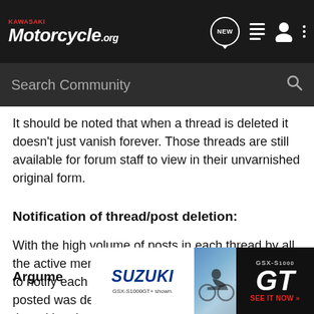Kawasaki Motorcycle.org — Navigation header with NEW, list, user, and menu icons
Search Community
It should be noted that when a thread is deleted it doesn't just vanish forever. Those threads are still available for forum staff to view in their unvarnished original form.
Notification of thread/post deletion:
With the high volume of posts in each thread by all the active members it would be nearly impossible to notify each person that a thread which they had posted was deleted , or why it was deleted. If the thread has been deleted you can assume someone had posted something not allowed and the deletion was in the best interest of the entire forum.
Argume
[Figure (photo): Suzuki GSX-S1000GT advertisement banner with motorcycle image and 'GT SEE IT NOW >>' text on dark background]